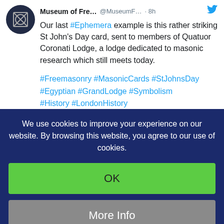[Figure (screenshot): Twitter/museum profile avatar: dark navy circle with a square geometric icon inside]
Museum of Fre… @MuseumF… · 8h
Our last #Ephemera example is this rather striking St John's Day card, sent to members of Quatuor Coronati Lodge, a lodge dedicated to masonic research which still meets today.
#Freemasonry #MasonicCards #StJohnsDay #Egyptian #GrandLodge #Symbolism #History #LondonHistory
We use cookies to improve your experience on our website. By browsing this website, you agree to our use of cookies.
OK
More Info
Decline